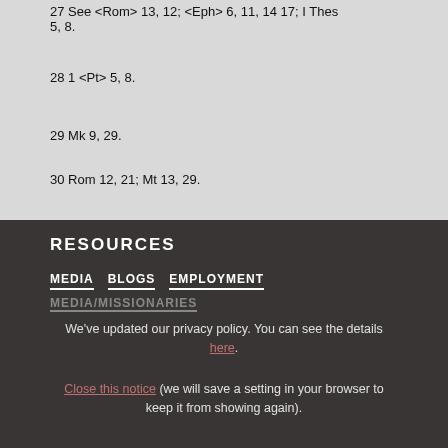27 See <Rom> 13, 12; <Eph> 6, 11, 14 17; I Thes 5, 8.
28 1 <Pt> 5, 8.
29 Mk 9, 29.
30 Rom 12, 21; Mt 13, 29.
RESOURCES
MEDIA   BLOGS   EMPLOYMENT
MEDIA/MISSIONARIES
We've updated our privacy policy. You can see the details here.
Close this notice (we will save a setting in your browser to keep it from showing again).